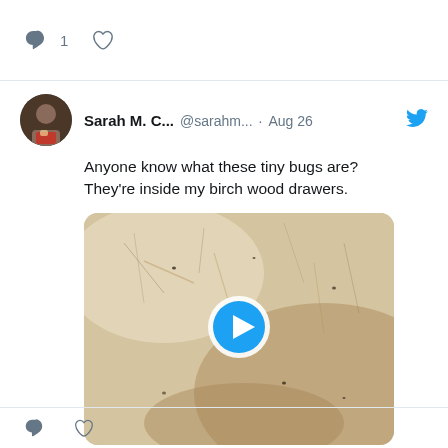1 (comment and heart icons)
Sarah M. C... @sarahm... · Aug 26
Anyone know what these tiny bugs are? They're inside my birch wood drawers.
[Figure (screenshot): Video thumbnail showing close-up of light birch wood surface with tiny dark bugs/marks visible, overlaid with a blue circular play button]
(comment and heart icons)